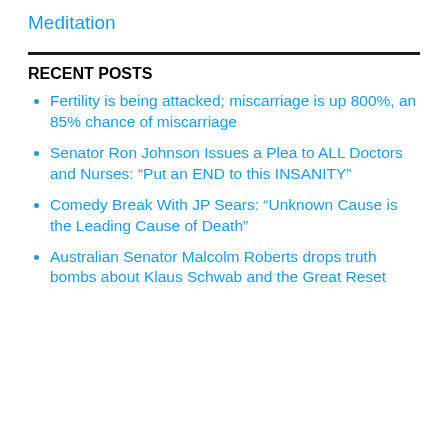Meditation
RECENT POSTS
Fertility is being attacked; miscarriage is up 800%, an 85% chance of miscarriage
Senator Ron Johnson Issues a Plea to ALL Doctors and Nurses: “Put an END to this INSANITY”
Comedy Break With JP Sears: “Unknown Cause is the Leading Cause of Death”
Australian Senator Malcolm Roberts drops truth bombs about Klaus Schwab and the Great Reset